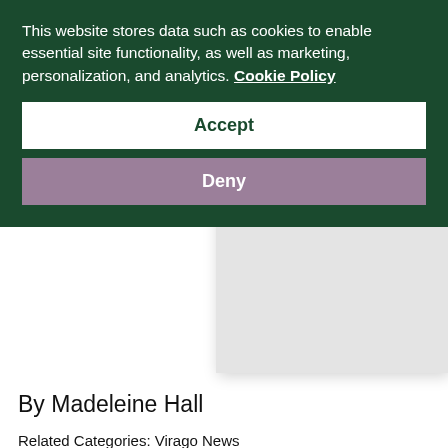[Figure (screenshot): Cookie consent banner overlay on a dark green background. Contains text about cookies policy with Accept and Deny buttons. Behind it is a webpage showing partial large italic title text 'with Gayl Jones', a book cover image placeholder, author byline, and related categories/tags.]
This website stores data such as cookies to enable essential site functionality, as well as marketing, personalization, and analytics. Cookie Policy
Accept
Deny
with Gayl Jones
By Madeleine Hall
Related Categories: Virago News
Related Tags: Corrogidora, gayl jones, Palmares